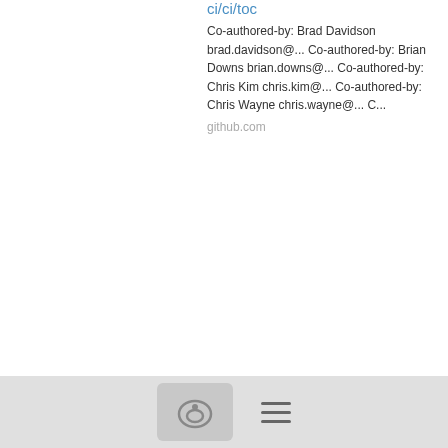ci/ci/toc
Co-authored-by: Brad Davidson brad.davidson@... Co-authored-by: Brian Downs brian.downs@... Co-authored-by: Chris Kim chris.kim@... Co-authored-by: Chris Wayne chris.wayne@... C...
github.com
---
Thank you.
≡ More
Re: [VOTE] Dapr for incubation
10/15/21